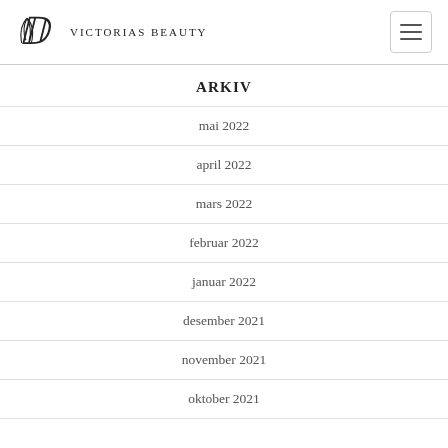Victorias Beauty
ARKIV
mai 2022
april 2022
mars 2022
februar 2022
januar 2022
desember 2021
november 2021
oktober 2021